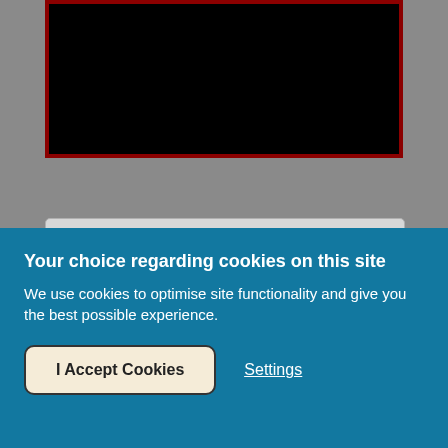[Figure (photo): Black rectangle representing a video player or image thumbnail with dark red/maroon border]
READ MORE
Businesses to 'employ more temps'
03 Jun 2009
Your choice regarding cookies on this site
We use cookies to optimise site functionality and give you the best possible experience.
I Accept Cookies
Settings